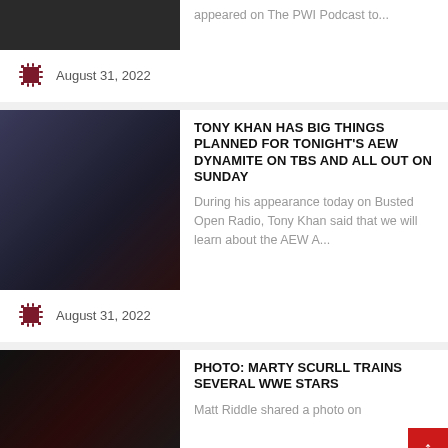[Figure (photo): Partial photo of a person at top of page (cropped)]
appeared on The PWI Podcast to...
August 31, 2022
[Figure (photo): Photo of Tony Khan holding a microphone on stage with red and purple lighting]
TONY KHAN HAS BIG THINGS PLANNED FOR TONIGHT'S AEW DYNAMITE ON TBS AND ALL OUT ON SUNDAY
During his appearance today on Busted Open Radio, Tony Khan said that we will learn about the AEW A...
August 31, 2022
[Figure (photo): Photo of Marty Scurll with arms raised, dark background with red/white design]
PHOTO: MARTY SCURLL TRAINS SEVERAL WWE STARS
Matt Riddle shared a photo on